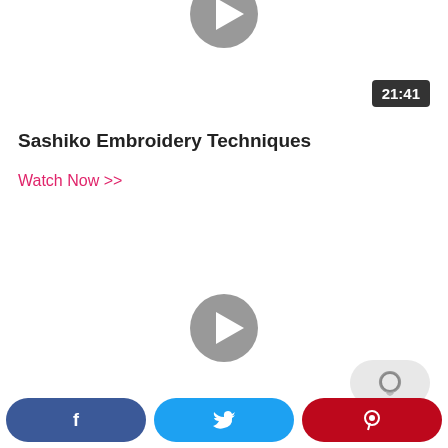[Figure (other): Gray play button circle icon at top center of page (partially cropped)]
21:41
Sashiko Embroidery Techniques
Watch Now >>
[Figure (other): Gray play button circle icon in middle of page]
[Figure (other): Light gray rounded pill/bubble comment button with speech bubble icon]
[Figure (other): Social sharing bar at bottom with Facebook, Twitter, and Pinterest buttons]